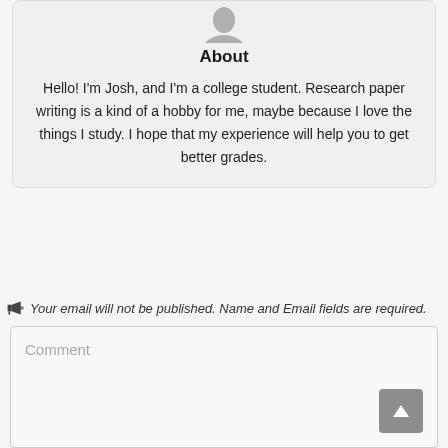[Figure (illustration): Gray user avatar silhouette icon at top of about card]
About
Hello! I'm Josh, and I'm a college student. Research paper writing is a kind of a hobby for me, maybe because I love the things I study. I hope that my experience will help you to get better grades.
Your email will not be published. Name and Email fields are required.
Comment